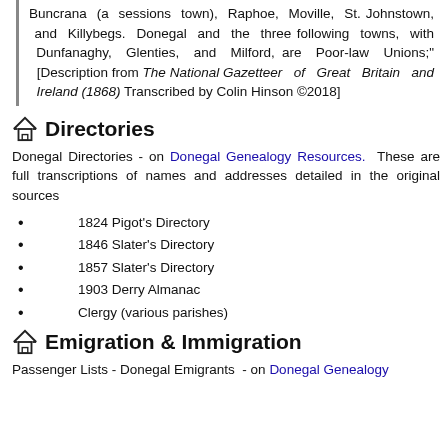Buncrana (a sessions town), Raphoe, Moville, St. Johnstown, and Killybegs. Donegal and the three following towns, with Dunfanaghy, Glenties, and Milford, are Poor-law Unions;" [Description from The National Gazetteer of Great Britain and Ireland (1868) Transcribed by Colin Hinson ©2018]
Directories
Donegal Directories - on Donegal Genealogy Resources. These are full transcriptions of names and addresses detailed in the original sources
1824 Pigot's Directory
1846 Slater's Directory
1857 Slater's Directory
1903 Derry Almanac
Clergy (various parishes)
Emigration & Immigration
Passenger Lists - Donegal Emigrants - on Donegal Genealogy Resources.